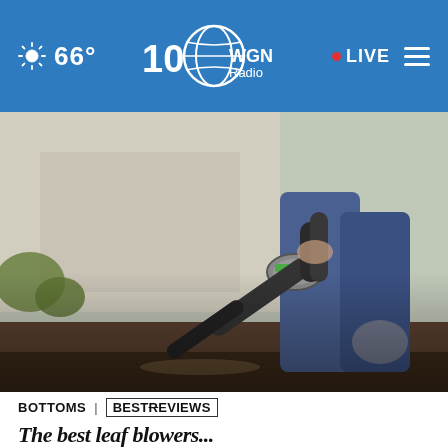66° WGN Radio • LIVE
[Figure (photo): Person using a leaf blower (EGO brand, green accents) near a concrete wall. The person is wearing blue jeans and holding the blower aimed downward at the ground. Background shows a house wall, green plants, and dirt.]
BOTTOMS | BESTREVIEWS
The best leaf blowers...